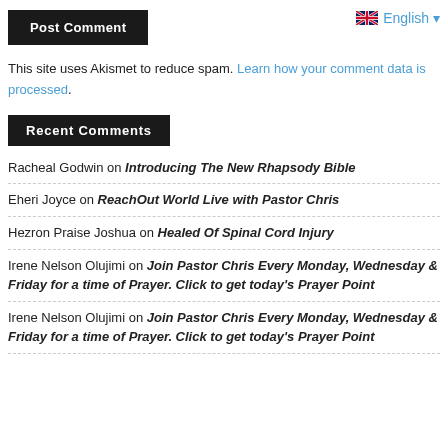Post Comment
English ▾
This site uses Akismet to reduce spam. Learn how your comment data is processed.
Recent Comments
Racheal Godwin on Introducing The New Rhapsody Bible
Eheri Joyce on ReachOut World Live with Pastor Chris
Hezron Praise Joshua on Healed Of Spinal Cord Injury
Irene Nelson Olujimi on Join Pastor Chris Every Monday, Wednesday & Friday for a time of Prayer. Click to get today's Prayer Point
Irene Nelson Olujimi on Join Pastor Chris Every Monday, Wednesday & Friday for a time of Prayer. Click to get today's Prayer Point